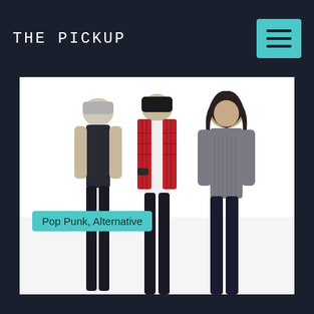THE PICKUP
[Figure (photo): Three young band members standing against a white background. Left member wears a gray beanie and dark tank top with black jeans. Center member wears a black beanie with a red plaid flannel shirt open over a white t-shirt and black jeans. Right member has dark shoulder-length hair and wears a gray long-sleeve top with black jeans.]
Pop Punk, Alternative